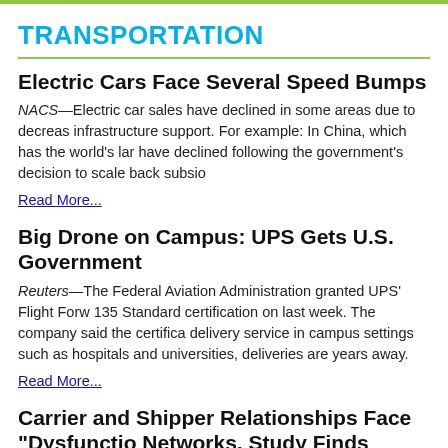TRANSPORTATION
Electric Cars Face Several Speed Bumps
NACS—Electric car sales have declined in some areas due to decreas infrastructure support. For example: In China, which has the world's lar have declined following the government's decision to scale back subsi
Read More...
Big Drone on Campus: UPS Gets U.S. Government
Reuters—The Federal Aviation Administration granted UPS' Flight Forw 135 Standard certification on last week. The company said the certifica delivery service in campus settings such as hospitals and universities, deliveries are years away.
Read More...
Carrier and Shipper Relationships Face "Dysfunctio Networks, Study Finds
CSCMP's Supply Chain Quarterly—Despite recent improvements in the